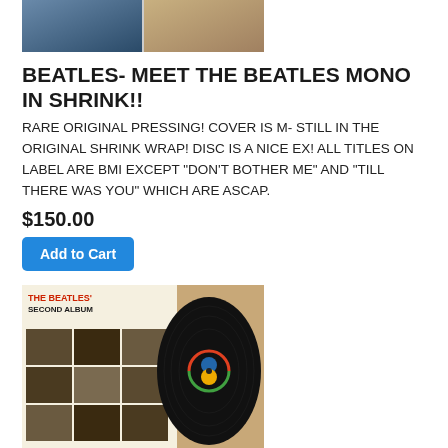[Figure (photo): Partial view of Beatles Meet The Beatles album cover in shrink wrap]
BEATLES- MEET THE BEATLES MONO IN SHRINK!!
RARE ORIGINAL PRESSING!  COVER IS M- STILL IN THE ORIGINAL SHRINK WRAP!  DISC IS A NICE EX!  ALL TITLES ON LABEL ARE BMI EXCEPT "DON'T BOTHER ME" AND "TILL THERE WAS YOU" WHICH ARE ASCAP.
$150.00
Add to Cart
[Figure (photo): The Beatles' Second Album cover with vinyl record visible]
BEATLES- SECOND ALBUM  MONO IN SHRINK!